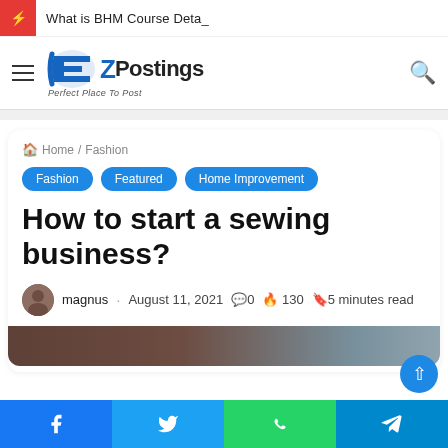What is BHM Course Deta_
[Figure (logo): EZPostings logo with hamburger menu and search icon]
Home / Fashion
Fashion  Featured  Home Improvement
How to start a sewing business?
magnus · August 11, 2021 · 0 · 130 · 5 minutes read
[Figure (photo): Article header photo, dark brown tones]
Facebook | Twitter | WhatsApp | Telegram share buttons